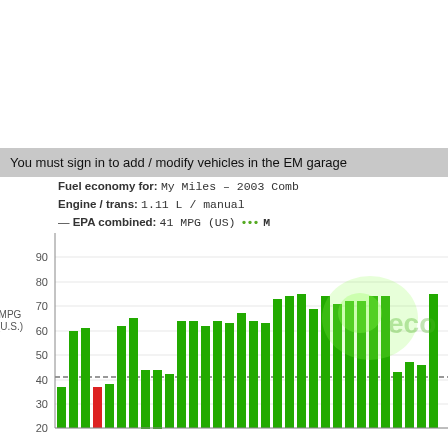You must sign in to add / modify vehicles in the EM garage
[Figure (bar-chart): Bar chart showing fuel economy in MPG (US) over multiple fill-ups. Most bars are green, one bar is red. A dashed horizontal line marks 41 MPG EPA combined.]